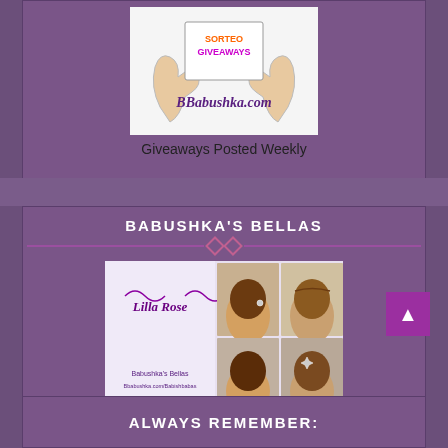[Figure (illustration): BBabushka.com giveaways illustration with hands holding a sign saying SORTEO GIVEAWAYS and the BBabushka.com logo text below]
Giveaways Posted Weekly
BABUSHKA'S BELLAS
[Figure (photo): Lilla Rose hair accessories promotional image showing women with hair accessories from multiple angles with Babushka's Bellas branding]
Lilla Rose Hair Art/Accessories
ALWAYS REMEMBER: